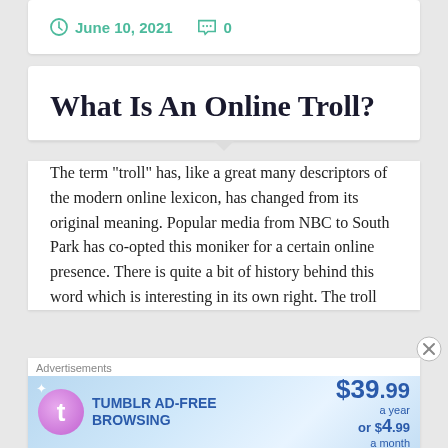June 10, 2021   0
What Is An Online Troll?
The term "troll" has, like a great many descriptors of the modern online lexicon, has changed from its original meaning. Popular media from NBC to South Park has co-opted this moniker for a certain online presence. There is quite a bit of history behind this word which is interesting in its own right. The troll
[Figure (infographic): Tumblr Ad-Free Browsing advertisement banner: $39.99 a year or $4.99 a month, with Tumblr logo and sparkles on a blue gradient background.]